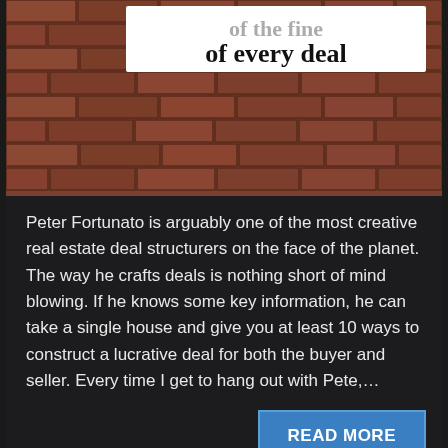[Figure (photo): Brick wall with a white sign reading 'of every deal' in bold serif font]
Peter Fortunato is arguably one of the most creative real estate deal structurers on the face of the planet. The way he crafts deals is nothing short of mind blowing. If he knows some key information, he can take a single house and give you at least 10 ways to construct a lucrative deal for both the buyer and seller. Every time I get to hang out with Pete,…
READ MORE
Mom and Dad got one
November 29, 2016  Joey English
Buying, Creative Financing  No Comments